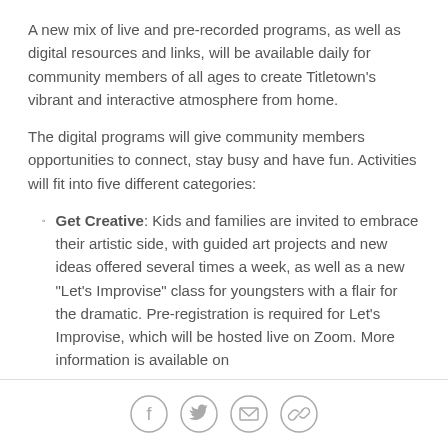A new mix of live and pre-recorded programs, as well as digital resources and links, will be available daily for community members of all ages to create Titletown's vibrant and interactive atmosphere from home.
The digital programs will give community members opportunities to connect, stay busy and have fun. Activities will fit into five different categories:
Get Creative: Kids and families are invited to embrace their artistic side, with guided art projects and new ideas offered several times a week, as well as a new "Let's Improvise" class for youngsters with a flair for the dramatic. Pre-registration is required for Let's Improvise, which will be hosted live on Zoom. More information is available on
[Figure (other): Social media sharing icons: Facebook, Twitter, Email, and a link/chain icon, arranged horizontally at the bottom of the page.]